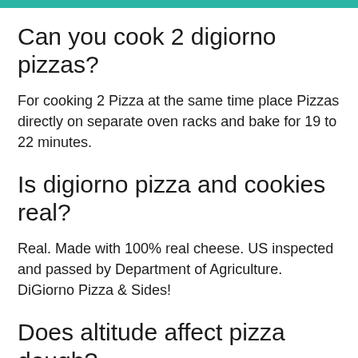Can you cook 2 digiorno pizzas?
For cooking 2 Pizza at the same time place Pizzas directly on separate oven racks and bake for 19 to 22 minutes.
Is digiorno pizza and cookies real?
Real. Made with 100% real cheese. US inspected and passed by Department of Agriculture. DiGiorno Pizza & Sides!
Does altitude affect pizza dough?